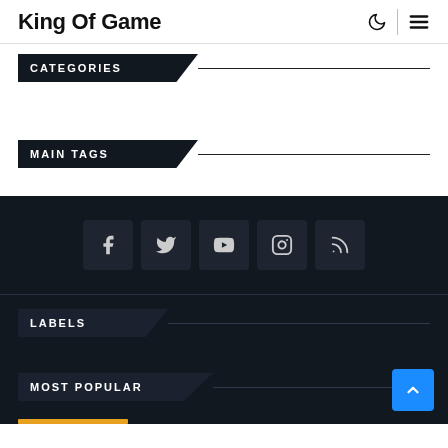King Of Game
CATEGORIES
MAIN TAGS
[Figure (infographic): Social media icon buttons row: Facebook, Twitter, YouTube, Instagram, RSS feed icons on dark background]
LABELS
MOST POPULAR